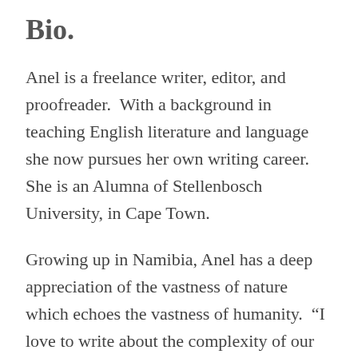Bio.
Anel is a freelance writer, editor, and proofreader.  With a background in teaching English literature and language she now pursues her own writing career.  She is an Alumna of Stellenbosch University, in Cape Town.
Growing up in Namibia, Anel has a deep appreciation of the vastness of nature which echoes the vastness of humanity.  “I love to write about the complexity of our humanity and that which forms our very core identity.”
Anel has been married for 7 years and has one